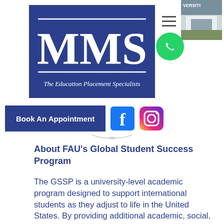[Figure (logo): MMS - The Education Placement Specialists logo on dark blue background]
[Figure (photo): University building exterior photo thumbnail]
[Figure (other): WhatsApp green phone icon]
[Figure (other): Hamburger menu icon (three horizontal lines)]
[Figure (other): Book An Appointment button with Facebook and Instagram social media icons]
About FAU’s Global Student Success Program
The GSSP is a university-level academic program designed to support international students as they adjust to life in the United States. By providing additional academic, social, and cultural